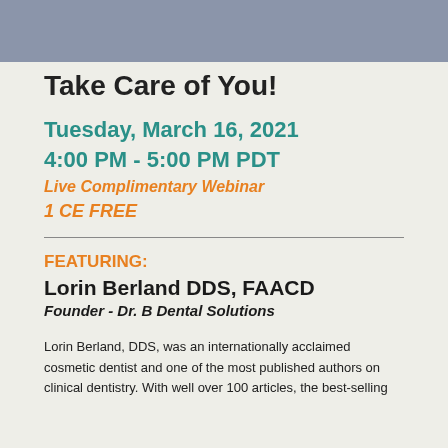Take Care of You!
Tuesday, March 16, 2021
4:00 PM - 5:00 PM PDT
Live Complimentary Webinar
1 CE FREE
FEATURING:
Lorin Berland DDS, FAACD
Founder - Dr. B Dental Solutions
Lorin Berland, DDS, was an internationally acclaimed cosmetic dentist and one of the most published authors on clinical dentistry. With well over 100 articles, the best-selling